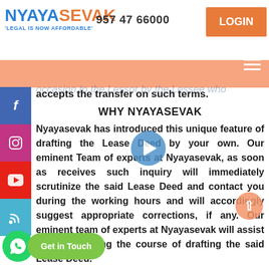NYAYASEVAK — LEGAL IS NOW AFFORDABLE | 957 47 66000 | LOGIN
enjoy property for a certain time or in perpetuity; in consideration of a price paid or promised, or of money, a share of crop, service or any other thing of value occasion to the Lessor by the Lessee who accepts the transfer on such terms.
WHY NYAYASEVAK
Nyayasevak has introduced this unique feature of drafting the Lease Deed by your own. Our eminent Team of experts at Nyayasevak, as soon as receives such inquiry will immediately scrutinize the said Lease Deed and contact you during the working hours and will accordingly suggest appropriate corrections, if any. Our eminent team of experts at Nyayasevak will assist you fully during the course of drafting the said Lease Deed.